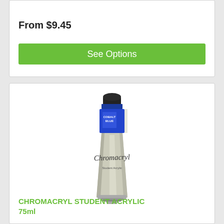From $9.45
See Options
[Figure (photo): A tube of Chromacryl Student Acrylic paint, 75ml, with a blue label on top and white body with cursive 'Chromacryl' branding]
CHROMACRYL STUDENT ACRYLIC 75ml